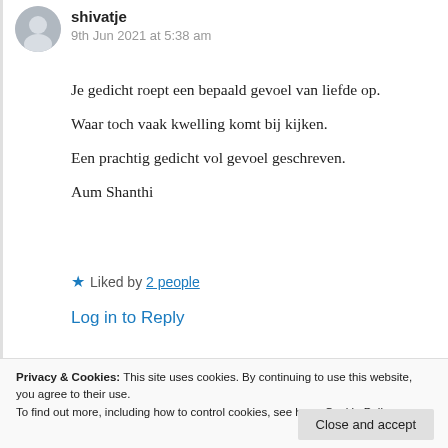shivatje
9th Jun 2021 at 5:38 am
Je gedicht roept een bepaald gevoel van liefde op.
Waar toch vaak kwelling komt bij kijken.
Een prachtig gedicht vol gevoel geschreven.

Aum Shanthi
★ Liked by 2 people
Log in to Reply
Privacy & Cookies: This site uses cookies. By continuing to use this website, you agree to their use.
To find out more, including how to control cookies, see here: Cookie Policy
Close and accept